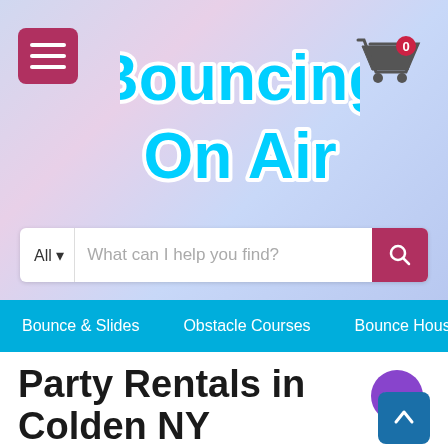[Figure (logo): Bouncing On Air logo in cyan/white bubble font with menu button and cart icon on a pastel purple-blue gradient background]
[Figure (screenshot): Search bar with All dropdown and placeholder text 'What can I help you find?' and a red search button]
Bounce & Slides   Obstacle Courses   Bounce Houses   W
Party Rentals in Colden NY
Party rentals in Colden NY are a wonderful way to have a birt party, community event, or fundraiser.  If you are looking to h gathering of any size, Party rentals in Colden NY is the perfect solution.  When you are having a party, entertainment is very